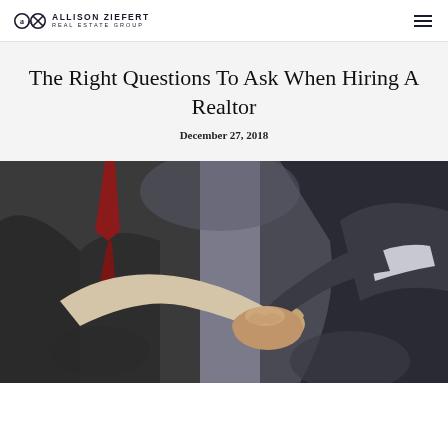ALLISON ZIEFERT REAL ESTATE GROUP
The Right Questions To Ask When Hiring A Realtor
December 27, 2018
[Figure (photo): Two people shaking hands, one in a light blazer and one in a dark suit, photographed close up at what appears to be a business meeting.]